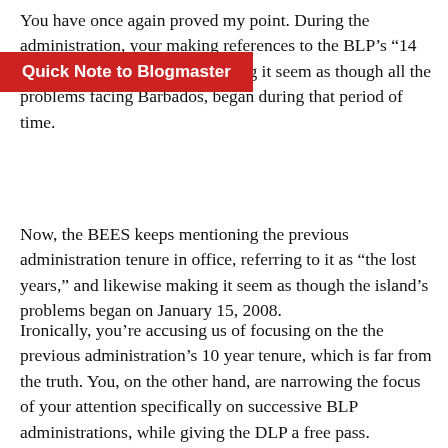You have once again proved my point. During the administration, your making references to the BLP’s “14 years in government” and making it seem as though all the problems facing Barbados, began during that period of time.
Quick Note to Blogmaster
Now, the BEES keeps mentioning the previous administration tenure in office, referring to it as “the lost years,” and likewise making it seem as though the island’s problems began on January 15, 2008.
Ironically, you’re accusing us of focusing on the the previous administration’s 10 year tenure, which is far from the truth. You, on the other hand, are narrowing the focus of your attention specifically on successive BLP administrations, while giving the DLP a free pass.